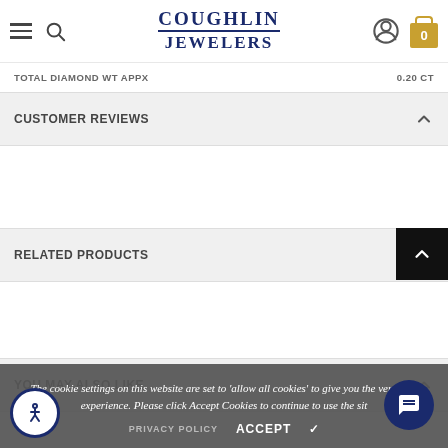Coughlin Jewelers — navigation header with hamburger menu, search, logo, account icon, and shopping bag
TOTAL DIAMOND WT APPX   0.20 CT
CUSTOMER REVIEWS
RELATED PRODUCTS
YOU MAY ALSO LIKE
The cookie settings on this website are set to 'allow all cookies' to give you the very best experience. Please click Accept Cookies to continue to use the site.
PRIVACY POLICY   ACCEPT ✔